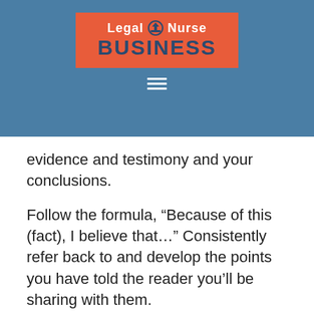Legal Nurse BUSINESS
evidence and testimony and your conclusions.
Follow the formula, “Because of this (fact), I believe that…” Consistently refer back to and develop the points you have told the reader you’ll be sharing with them.
7. Help the reader see the transitions as you move from point to point. Repetition guides the readers and enables them to